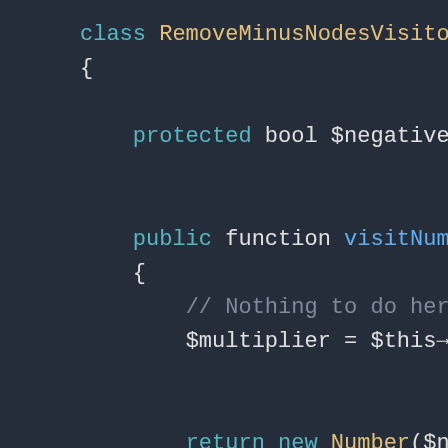[Figure (screenshot): Syntax-highlighted PHP code snippet showing a class RemoveMinusNodesVisitor with protected bool $negative = false, public function visitNumber(Num... with body containing comment and $multiplier = $this->negati... and return new Number($node->va..., and public function visitMinus(Minus... with body containing comment // Record state. and $originalNegative = $this->...]